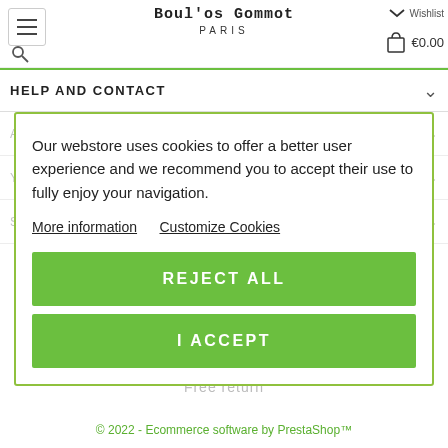Boul'os Gommot PARIS  €0.00
HELP AND CONTACT
Our webstore uses cookies to offer a better user experience and we recommend you to accept their use to fully enjoy your navigation.
More information   Customize Cookies
REJECT ALL
I ACCEPT
Free return
© 2022 - Ecommerce software by PrestaShop™